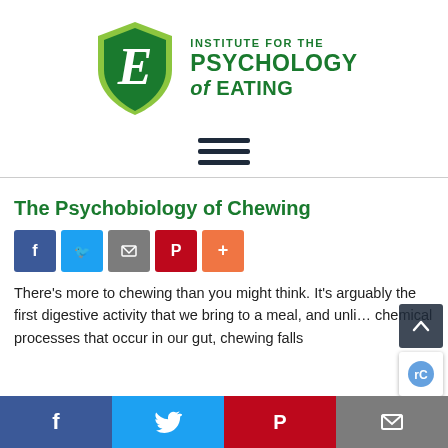[Figure (logo): Institute for the Psychology of Eating logo: green shield with white E, green text reading INSTITUTE FOR THE PSYCHOLOGY of EATING]
[Figure (other): Hamburger menu icon: three horizontal dark navy lines]
The Psychobiology of Chewing
[Figure (other): Social share buttons row: Facebook (blue), Twitter (light blue), Email (gray), Pinterest (red), Plus/More (orange)]
There’s more to chewing than you might think. It’s arguably the first digestive activity that we bring to a meal, and unli… chemical processes that occur in our gut, chewing falls
[Figure (other): Bottom social share bar: Facebook (dark blue), Twitter (light blue), Pinterest (red), Email (gray)]